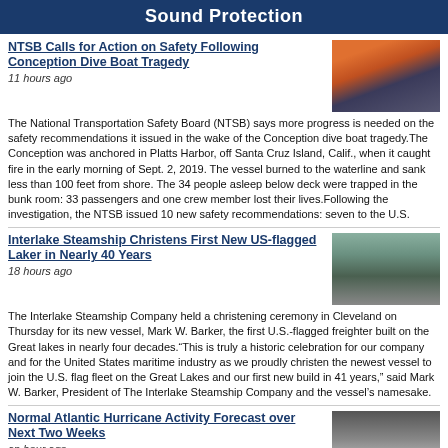Sound Protection
NTSB Calls for Action on Safety Following Conception Dive Boat Tragedy
11 hours ago
[Figure (photo): Burning boat on water at dusk with orange sky]
The National Transportation Safety Board (NTSB) says more progress is needed on the safety recommendations it issued in the wake of the Conception dive boat tragedy.The Conception was anchored in Platts Harbor, off Santa Cruz Island, Calif., when it caught fire in the early morning of Sept. 2, 2019. The vessel burned to the waterline and sank less than 100 feet from shore. The 34 people asleep below deck were trapped in the bunk room: 33 passengers and one crew member lost their lives.Following the investigation, the NTSB issued 10 new safety recommendations: seven to the U.S.
Interlake Steamship Christens First New US-flagged Laker in Nearly 40 Years
18 hours ago
[Figure (photo): Large ship/freighter in dry dock or waterway]
The Interlake Steamship Company held a christening ceremony in Cleveland on Thursday for its new vessel, Mark W. Barker, the first U.S.-flagged freighter built on the Great lakes in nearly four decades.“This is truly a historic celebration for our company and for the United States maritime industry as we proudly christen the newest vessel to join the U.S. flag fleet on the Great Lakes and our first new build in 41 years,” said Mark W. Barker, President of The Interlake Steamship Company and the vessel’s namesake.
Normal Atlantic Hurricane Activity Forecast over Next Two Weeks
an hour ago
[Figure (photo): Storm waves crashing with dark cloudy sky]
There will likely be normal levels of tropical storm activity over the next two weeks as the Atlantic Ocean hurricane season hits its peak, forecasters at Colorado State University said on Thursday.An upper-level trough in the atmosphere is expected to continue bringing near-normal tropical storm activity throughout the Atlantic. Further, active...